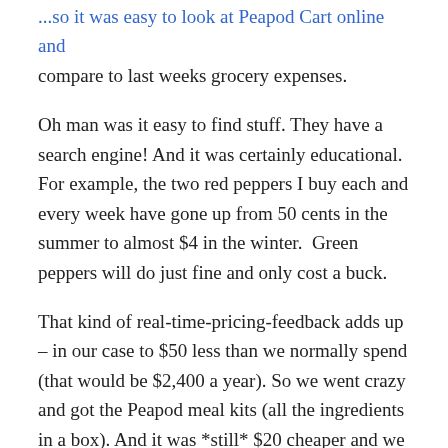...so it was easy to look at Peapod Cart online and compare to last weeks grocery expenses.
Oh man was it easy to find stuff. They have a search engine! And it was certainly educational. For example, the two red peppers I buy each and every week have gone up from 50 cents in the summer to almost $4 in the winter.  Green peppers will do just fine and only cost a buck.
That kind of real-time-pricing-feedback adds up – in our case to $50 less than we normally spend (that would be $2,400 a year). So we went crazy and got the Peapod meal kits (all the ingredients in a box). And it was *still* $20 cheaper and we will waste less food as a result. Hmm.
A few months in we found we saved about $300 a